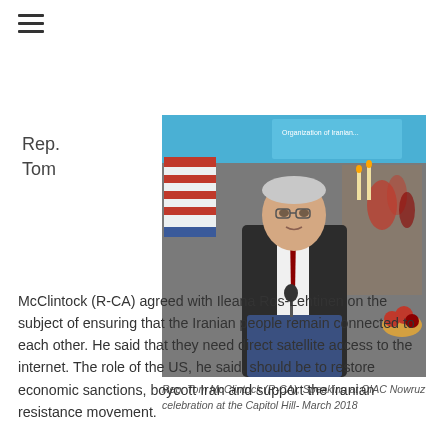Rep. Tom
[Figure (photo): Rep. Tom McClintock (R-CA) speaking at a podium with a US flag and decorative flowers in the background, at the OIAC Nowruz celebration at Capitol Hill, March 2018]
Rep. Tom McClintock (R-CA), Speaking at OIAC Nowruz celebration at the Capitol Hill- March 2018
McClintock (R-CA) agreed with Ileana Ros-Lehtinen on the subject of ensuring that the Iranian people remain connected to each other. He said that they need direct satellite access to the internet. The role of the US, he said, should be to restore economic sanctions, boycott Iran and support the Iranian resistance movement.